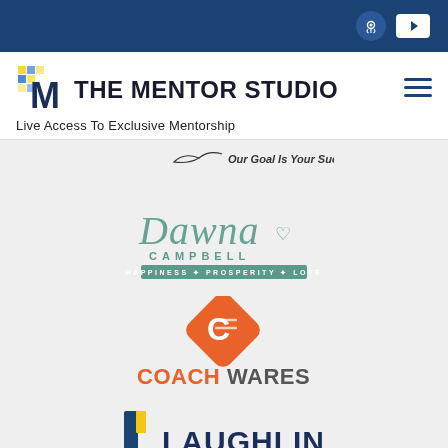Header bar with podcast and YouTube icons
[Figure (logo): The Mentor Studio logo with M icon and text]
Live Access To Exclusive Mentorship
[Figure (logo): Banner with bird/wing logo and text: Our Goal Is Your Success!]
[Figure (logo): Dawna Campbell - Happiness + Prosperity + Love logo in teal/green script]
[Figure (logo): CoachWares logo with orange diamond C icon]
[Figure (logo): Laughlin Since 1972 logo with yellow/blue L icon]